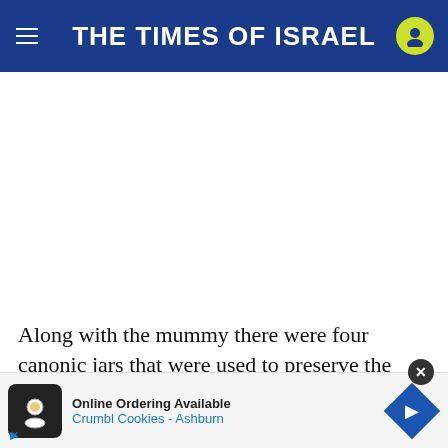THE TIMES OF ISRAEL
[Figure (other): Large blank white space where an image would appear (image not loaded)]
Along with the mummy there were four canonic jars that were used to preserve the internal organs of the deceased. In addition, archaeologists found a scarab... figuring... ware.
[Figure (other): Advertisement overlay: Online Ordering Available - Crumbl Cookies - Ashburn, with logo and navigation arrow icon]